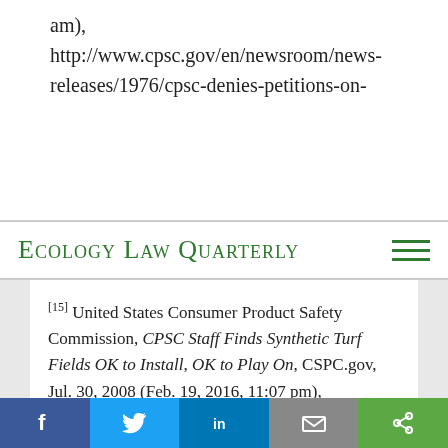am), http://www.cpsc.gov/en/newsroom/news-releases/1976/cpsc-denies-petitions-on-
ECOLOGY LAW QUARTERLY
[15] United States Consumer Product Safety Commission, CPSC Staff Finds Synthetic Turf Fields OK to Install, OK to Play On, CSPC.gov, Jul. 30, 2008 (Feb. 19, 2016, 11:07 pm), http://www.cpsc.gov/en/newsroom/news-releases/2008/cpsc-staff-finds-synthetic-turf-fields-ok-to-install-ok-to-play-on/.